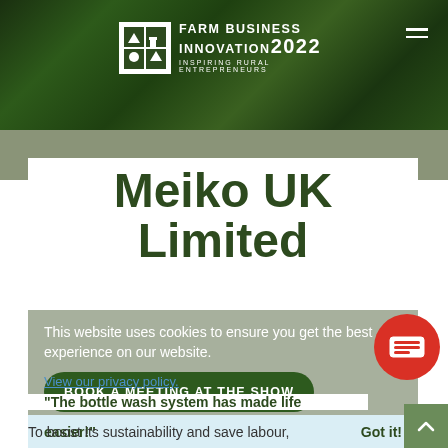[Figure (logo): Farm Business Innovation 2022 - Inspiring Rural Entrepreneurs logo on grass/green background with hamburger menu icon]
Meiko UK Limited
This website uses cookies to ensure you get the best experience on our website.
BOOK A MEETING AT THE SHOW
View our privacy policy.
"The bottle wash system has made life easier!"
Got it!
To boost its sustainability and save labour,